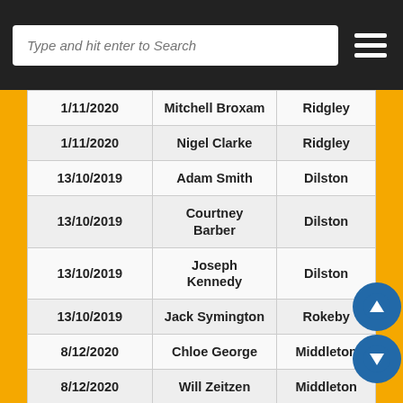Type and hit enter to Search
| Date | Name | Location |  |
| --- | --- | --- | --- |
| 1/11/2020 | Mitchell Broxam | Ridgley |  |
| 1/11/2020 | Nigel Clarke | Ridgley |  |
| 13/10/2019 | Adam Smith | Dilston |  |
| 13/10/2019 | Courtney Barber | Dilston |  |
| 13/10/2019 | Joseph Kennedy | Dilston |  |
| 13/10/2019 | Jack Symington | Rokeby |  |
| 8/12/2020 | Chloe George | Middleton |  |
| 8/12/2020 | Will Zeitzen | Middleton |  |
| 19/02/2021 | Dylan Kelleher | New Norfolk |  |
| 18/05/2021 | Blake Jenson | Somerset |  |